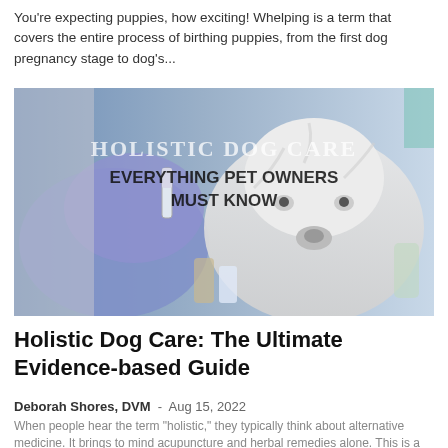You're expecting puppies, how exciting! Whelping is a term that covers the entire process of birthing puppies, from the first dog pregnancy stage to dog's...
[Figure (photo): A veterinarian wearing blue latex gloves holds a small vial near a fluffy white Maltese dog. Text overlay reads 'Holistic Dog Care — Everything Pet Owners Must Know'.]
Holistic Dog Care: The Ultimate Evidence-based Guide
Deborah Shores, DVM  -  Aug 15, 2022
When people hear the term "holistic," they typically think about alternative medicine. It brings to mind acupuncture and herbal remedies alone. This is a common misconception, as...